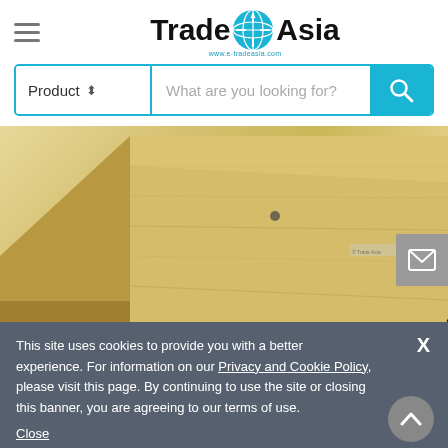TradeAsia - www.e-tradeasia.com
Product | What are you looking for?
[Figure (photo): Close-up of a wooden board/panel viewed from a corner angle, showing light-colored wood grain with a black edge visible. A small label is on the surface.]
This site uses cookies to provide you with a better experience. For information on our Privacy and Cookie Policy, please visit this page. By continuing to use the site or closing this banner, you are agreeing to our terms of use. Close